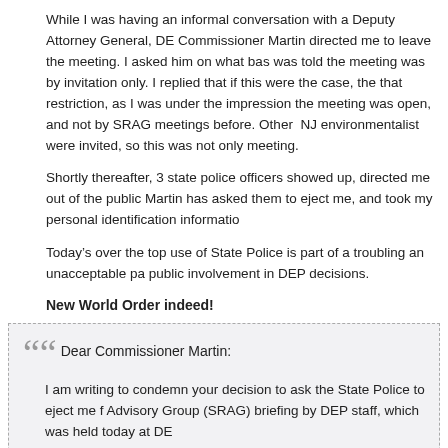While I was having an informal conversation with a Deputy Attorney General, DE Commissioner Martin directed me to leave the meeting. I asked him on what bas was told the meeting was by invitation only. I replied that if this were the case, the that restriction, as I was under the impression the meeting was open, and not by SRAG meetings before. Other NJ environmentalist were invited, so this was not only meeting.
Shortly thereafter, 3 state police officers showed up, directed me out of the public Martin has asked them to eject me, and took my personal identification informatio
Today’s over the top use of State Police is part of a troubling an unacceptable pa public involvement in DEP decisions.
New World Order indeed!
Dear Commissioner Martin:

I am writing to condemn your decision to ask the State Police to eject me Advisory Group (SRAG) briefing by DEP staff, which was held today at DE

Such heavy handed tactics are un-American, and have no place in state g

I have attended SRAG meetings in the past.

I testified throughout the legislative debate on the Licensed Site Professi today’s briefing.

I testified in the legislature specifically on the topic of the risk based prior on today’s briefing agenda.